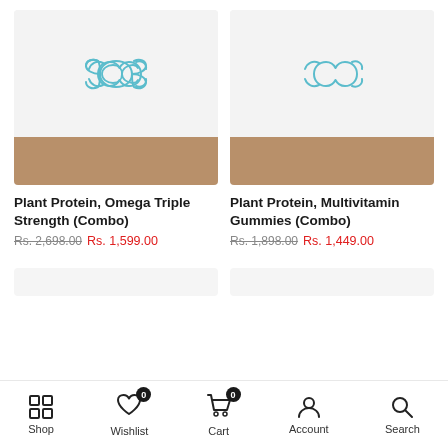[Figure (screenshot): Product card image for Plant Protein, Omega Triple Strength Combo with infinity logo on light grey background and brown/tan bottom strip]
Plant Protein, Omega Triple Strength (Combo)
Rs. 2,698.00 Rs. 1,599.00
[Figure (screenshot): Product card image for Plant Protein, Multivitamin Gummies Combo with infinity logo on light grey background and brown/tan bottom strip]
Plant Protein, Multivitamin Gummies (Combo)
Rs. 1,898.00 Rs. 1,449.00
Shop   Wishlist 0   Cart 0   Account   Search